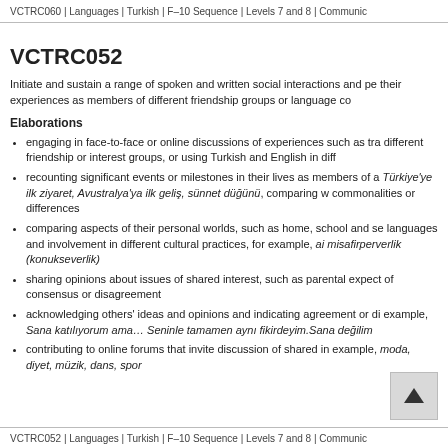VCTRC060 | Languages | Turkish | F–10 Sequence | Levels 7 and 8 | Communic
VCTRC052
Initiate and sustain a range of spoken and written social interactions and pe their experiences as members of different friendship groups or language co
Elaborations
engaging in face-to-face or online discussions of experiences such as tra different friendship or interest groups, or using Turkish and English in diff
recounting significant events or milestones in their lives as members of a Türkiye'ye ilk ziyaret, Avustralya'ya ilk geliş, sünnet düğünü, comparing w commonalities or differences
comparing aspects of their personal worlds, such as home, school and se languages and involvement in different cultural practices, for example, ai misafirperverlik (konukseverlik)
sharing opinions about issues of shared interest, such as parental expect of consensus or disagreement
acknowledging others' ideas and opinions and indicating agreement or di example, Sana katılıyorum ama… Seninle tamamen aynı fikirdeyim.Sana değilim
contributing to online forums that invite discussion of shared in example, moda, diyet, müzik, dans, spor
VCTRC052 | Languages | Turkish | F–10 Sequence | Levels 7 and 8 | Communic